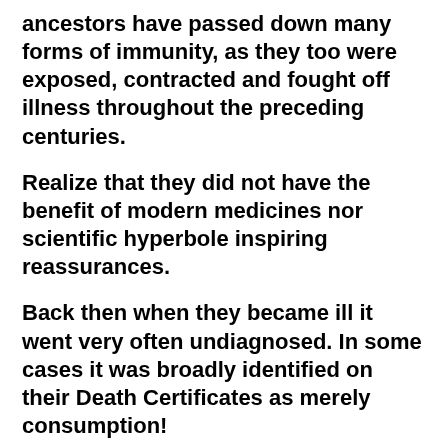ancestors have passed down many forms of immunity, as they too were exposed, contracted and fought off illness throughout the preceding centuries.
Realize that they did not have the benefit of modern medicines nor scientific hyperbole inspiring reassurances.
Back then when they became ill it went very often undiagnosed. In some cases it was broadly identified on their Death Certificates as merely consumption!
Thus, its as true today as it was back then that it will all come down to our individual bodies being able to fend off whatever aliment shall come to pass. Sure some modern medications might help the potential for survival but realize that there is